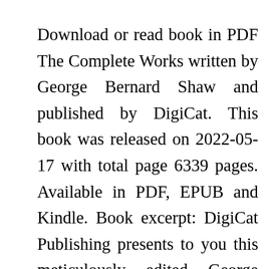Download or read book in PDF The Complete Works written by George Bernard Shaw and published by DigiCat. This book was released on 2022-05-17 with total page 6339 pages. Available in PDF, EPUB and Kindle. Book excerpt: DigiCat Publishing presents to you this meticulously edited George Bernard Shaw collection:_x000D_ Introduction:_x000D_ Mr. Bernard Shaw (by G. K. Chesterton)_x000D_ Novels:_x000D_ Cashel Byron's Profession _x000D_ An Unsocial Socialist _x000D_ Love Among The Artists _x000D_ The Irrational Knot _x000D_ Plays:_x000D_ Plays